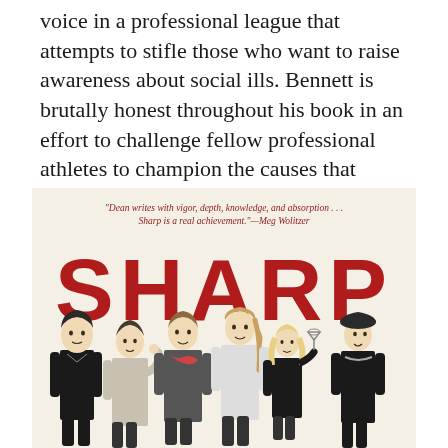voice in a professional league that attempts to stifle those who want to raise awareness about social ills. Bennett is brutally honest throughout his book in an effort to challenge fellow professional athletes to champion the causes that matter.
[Figure (illustration): Book cover for 'SHARP' with a cream/beige background. At the top, a quote in red italic text: "Dean writes with vigor, depth, knowledge, and absorption . . . Sharp is a real achievement."—Meg Wolitzer. Large bold red text reading 'SHARP' in the center. Below, a black-and-white line illustration of six women in various poses and clothing styles from different eras.]